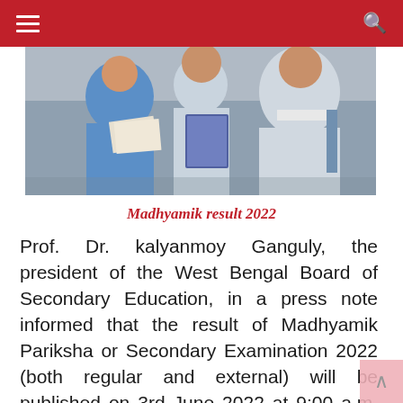☰  🔍
[Figure (photo): Students holding papers and books, appearing to review exam materials outdoors]
Madhyamik result 2022
Prof. Dr. kalyanmoy Ganguly, the president of the West Bengal Board of Secondary Education, in a press note informed that the result of Madhyamik Pariksha or Secondary Examination 2022 (both regular and external) will be published on 3rd June 2022 at 9:00 a.m. at the Meeting Hall, Derozio Bhawan, 1st floor, DJ – 8, Sector – II, Kolkata